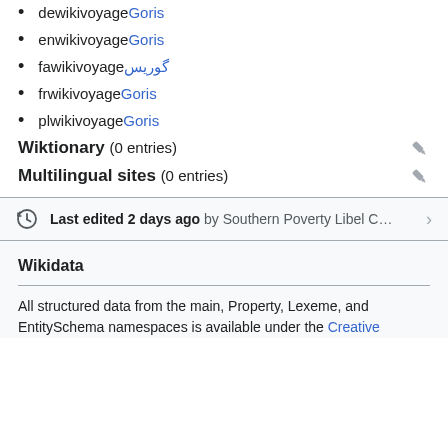dewikivoyage Goris
enwikivoyage Goris
fawikivoyage گوریس
frwikivoyage Goris
plwikivoyage Goris
Wiktionary (0 entries)
Multilingual sites (0 entries)
Last edited 2 days ago by Southern Poverty Libel C…
Wikidata
All structured data from the main, Property, Lexeme, and EntitySchema namespaces is available under the Creative